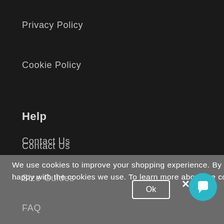Privacy Policy
Cookie Policy
Help
Contact Us
Size Guides
FAQ
We use cookies to improve your shopping experience. By using our site we assume you are happy with the cookies we use. To learn more about the cookies we set press the i icon.